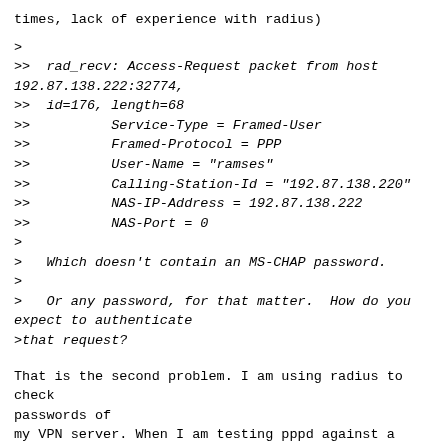times, lack of experience with radius)
>
>>  rad_recv: Access-Request packet from host
192.87.138.222:32774,
>>  id=176, length=68
>>          Service-Type = Framed-User
>>          Framed-Protocol = PPP
>>          User-Name = "ramses"
>>          Calling-Station-Id = "192.87.138.220"
>>          NAS-IP-Address = 192.87.138.222
>>          NAS-Port = 0
>
>   Which doesn't contain an MS-CHAP password.
>
>   Or any password, for that matter.  How do you
expect to authenticate
>that request?
That is the second problem. I am using radius to check passwords of
my VPN server. When I am testing pppd against a chap-secrets file, it
can authenticate, but it looks to me like the radiusclient is not
relayting the right info. Can someone tell me where I went wrong with
configuring it?